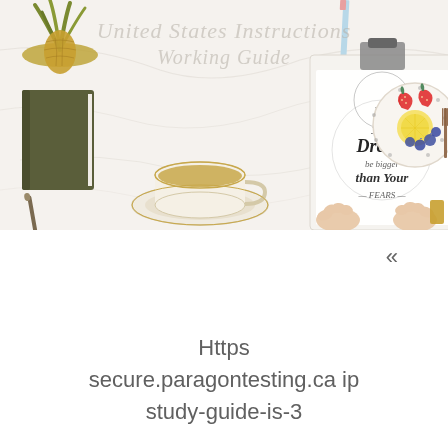[Figure (photo): Overhead lifestyle photo on a marble surface: a clipboard with decorative calligraphy text reading 'Let your Dream be bigger than your Fears', two hands holding the clipboard, a cup of tea on a saucer, a golden pineapple plant, an olive-green journal with a pen, and a polka-dot plate with strawberries, lemon slices, and blueberries. Watermark overlay reads 'United States Instructions Working Guide'.]
«
Https
secure.paragontesting.ca ip
study-guide-is-3